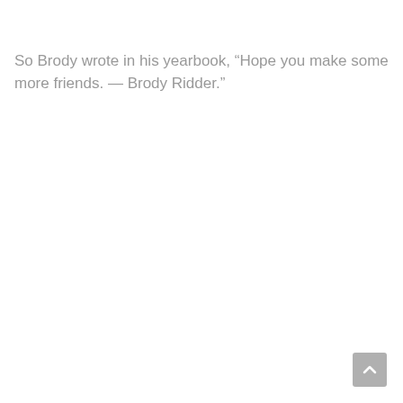So Brody wrote in his yearbook, “Hope you make some more friends. — Brody Ridder.”